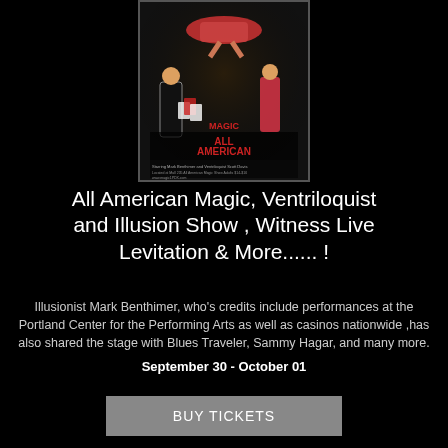[Figure (photo): Promotional poster for All American Magic show featuring illusionist Mark Benthimer and Ventriloquist Scott Davis, showing performers and levitation act with text overlay on dark background]
All American Magic, Ventriloquist and Illusion Show , Witness Live Levitation & More...... !
Illusionist Mark Benthimer, who's credits include performances at the Portland Center for the Performing Arts as well as casinos nationwide ,has also shared the stage with Blues Traveler, Sammy Hagar, and many more.
September 30 - October 01
BUY TICKETS